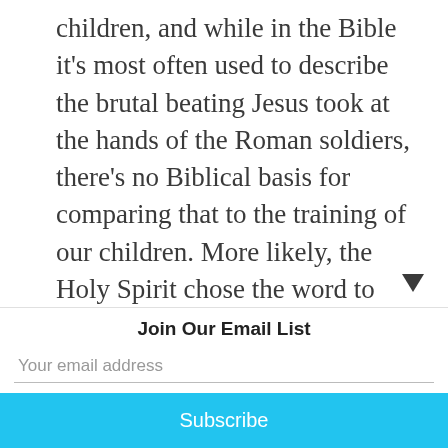children, and while in the Bible it's most often used to describe the brutal beating Jesus took at the hands of the Roman soldiers, there's no Biblical basis for comparing that to the training of our children. More likely, the Holy Spirit chose the word to show us that this too was a case of a Father chastising His Son, intende to teach by example the kind of
Join Our Email List
Your email address
Subscribe